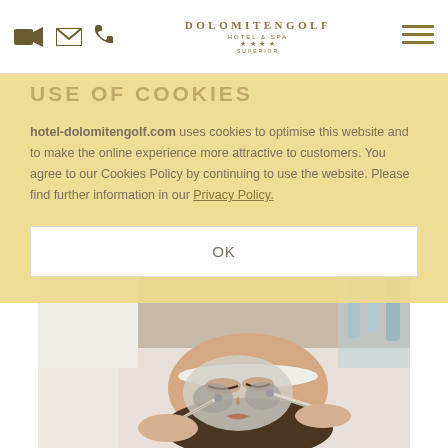DOLOMITENGOLF HOTEL & SPA — navigation header with video, mail, phone icons and hamburger menu
USE OF COOKIES
hotel-dolomitengolf.com uses cookies to optimise this website and to make the online experience more attractive to customers. You agree to our Cookies Policy by continuing to use the website. Please find further information in our Privacy Policy.
OK
[Figure (photo): Spa treatment photo: woman lying down receiving a facial mask treatment applied with brushes by a therapist, wearing a white headband and wrapped in white towels]